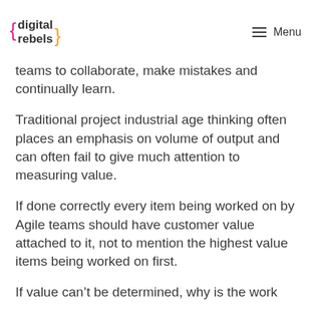{ digital rebels }  ≡ Menu
teams to collaborate, make mistakes and continually learn.
Traditional project industrial age thinking often places an emphasis on volume of output and can often fail to give much attention to measuring value.
If done correctly every item being worked on by Agile teams should have customer value attached to it, not to mention the highest value items being worked on first.
If value can’t be determined, why is the work